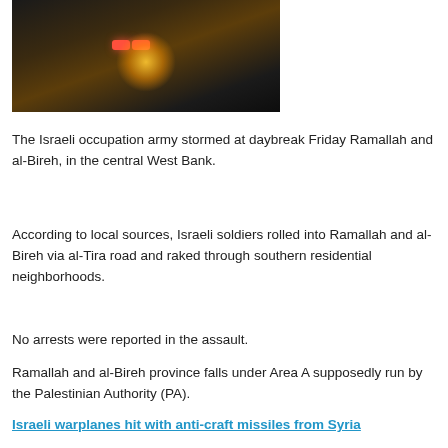[Figure (photo): Nighttime street scene showing a dark car with red tail lights glowing and a bright light or explosion in the background on a residential street]
The Israeli occupation army stormed at daybreak Friday Ramallah and al-Bireh, in the central West Bank.
According to local sources, Israeli soldiers rolled into Ramallah and al-Bireh via al-Tira road and raked through southern residential neighborhoods.
No arrests were reported in the assault.
Ramallah and al-Bireh province falls under Area A supposedly run by the Palestinian Authority (PA).
Israeli warplanes hit with anti-craft missiles from Syria